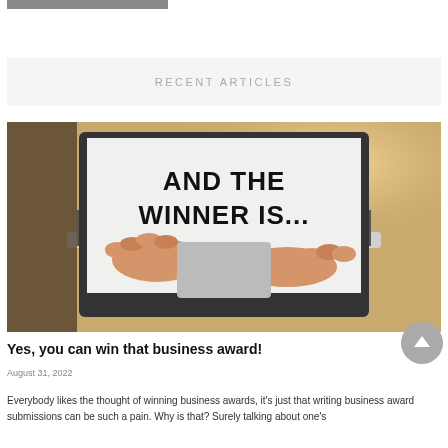[Figure (photo): Partial gray image block at top of page, cropped]
RECENT ARTICLES
[Figure (photo): Photo of a person typing on a laptop. The laptop screen displays the bold text 'AND THE WINNER IS...' on a white background. The person's hands are visible on the keyboard. The scene is set on a wooden table with warm orange light in the background.]
Yes, you can win that business award!
August 31, 2022
Everybody likes the thought of winning business awards, it's just that writing business award submissions can be such a pain. Why is that? Surely talking about one's